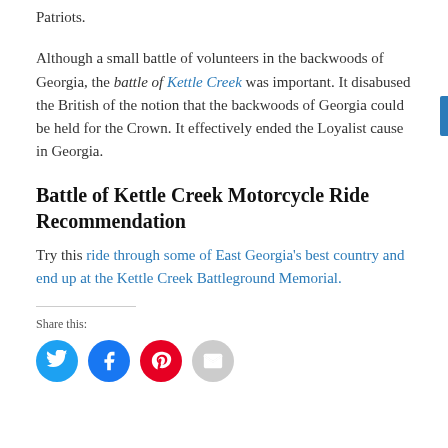Patriots.
Although a small battle of volunteers in the backwoods of Georgia, the battle of Kettle Creek was important. It disabused the British of the notion that the backwoods of Georgia could be held for the Crown. It effectively ended the Loyalist cause in Georgia.
Battle of Kettle Creek Motorcycle Ride Recommendation
Try this ride through some of East Georgia's best country and end up at the Kettle Creek Battleground Memorial.
Share this:
[Figure (infographic): Four social sharing icon buttons in circles: Twitter (cyan), Facebook (blue), Pinterest (red), Email (gray)]